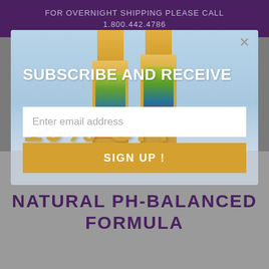FOR OVERNIGHT SHIPPING PLEASE CALL
1.800.442.4786
[Figure (photo): Two Arizona Sun product bottles with orange caps and tropical label design on a light blue background]
SUBSCRIBE AND RECEIVE
10% OFF
Enter email address
SIGN UP !
NATURAL PH-BALANCED FORMULA